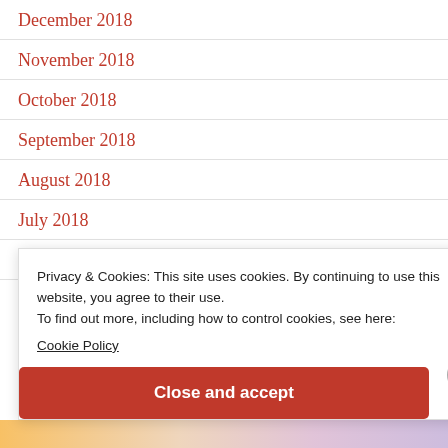December 2018
November 2018
October 2018
September 2018
August 2018
July 2018
June 2018
Privacy & Cookies: This site uses cookies. By continuing to use this website, you agree to their use.
To find out more, including how to control cookies, see here:
Cookie Policy
Close and accept